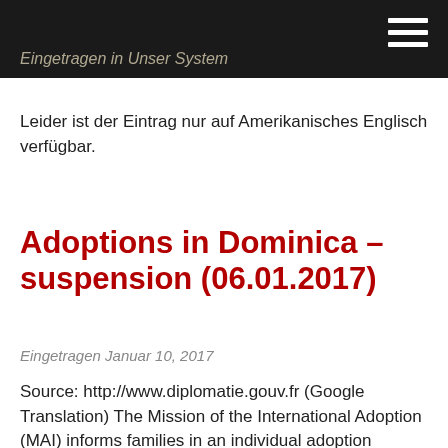Eingetragen in Unser System
Leider ist der Eintrag nur auf Amerikanisches Englisch verfügbar.
Adoptions in Dominica – suspension (06.01.2017)
Eingetragen Januar 10, 2017
Source: http://www.diplomatie.gouv.fr (Google Translation) The Mission of the International Adoption (MAI) informs families in an individual adoption procedure in the Dominican Republic about its decision, taken by order of 16 December 2016 pending publication in the Official Journal of the French Republic, to suspend all international adoptions